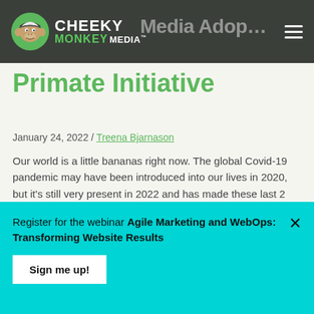Cheeky Monkey Media — [partial title visible] Primate Initiative
Primate Initiative
January 24, 2022 / Treena Bjarnason
Our world is a little bananas right now. The global Covid-19 pandemic may have been introduced into our lives in 2020, but it's still very present in 2022 and has made these last 2 years quite a thing, yes? At Cheeky Monkey Media (CMM), fortunately, pr…
Read more
Register for the webinar Agile Marketing and WebOps: Transforming Website Results
Sign me up!